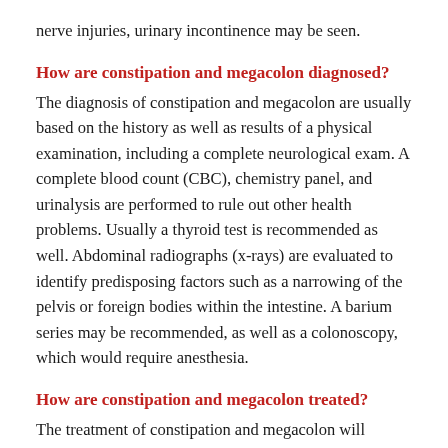nerve injuries, urinary incontinence may be seen.
How are constipation and megacolon diagnosed?
The diagnosis of constipation and megacolon are usually based on the history as well as results of a physical examination, including a complete neurological exam. A complete blood count (CBC), chemistry panel, and urinalysis are performed to rule out other health problems. Usually a thyroid test is recommended as well. Abdominal radiographs (x-rays) are evaluated to identify predisposing factors such as a narrowing of the pelvis or foreign bodies within the intestine. A barium series may be recommended, as well as a colonoscopy, which would require anesthesia.
How are constipation and megacolon treated?
The treatment of constipation and megacolon will depend upon the severity of the condition. Simple constipation